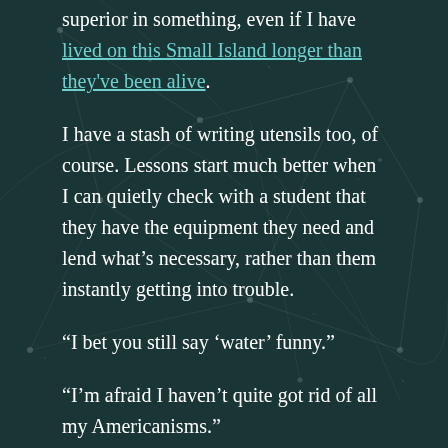superior in something, even if I have lived on this Small Island longer than they've been alive.
I have a stash of writing utensils too, of course. Lessons start much better when I can quietly check with a student that they have the equipment they need and lend what's necessary, rather than them instantly getting into trouble.
“I bet you still say ‘water’ funny.”
“I’m afraid I haven’t quite got rid of all my Americanisms.”
“Oh, that’s okay, Miss.”